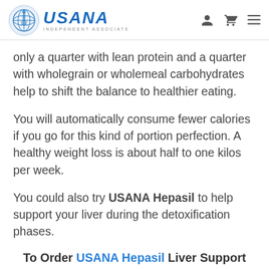USANA INDEPENDENT ASSOCIATE
only a quarter with lean protein and a quarter with wholegrain or wholemeal carbohydrates help to shift the balance to healthier eating.
You will automatically consume fewer calories if you go for this kind of portion perfection. A healthy weight loss is about half to one kilos per week.
You could also try USANA Hepasil to help support your liver during the detoxification phases.
To Order USANA Hepasil Liver Support